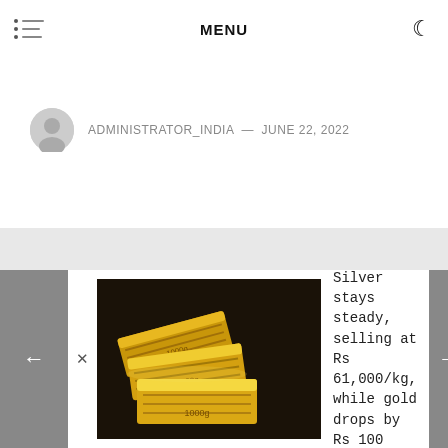MENU
ADMINISTRATOR_INDIA — JUNE 22, 2022
[Figure (photo): Gold bars/bullion stacked on dark background]
Silver stays steady, selling at Rs 61,000/kg, while gold drops by Rs 100